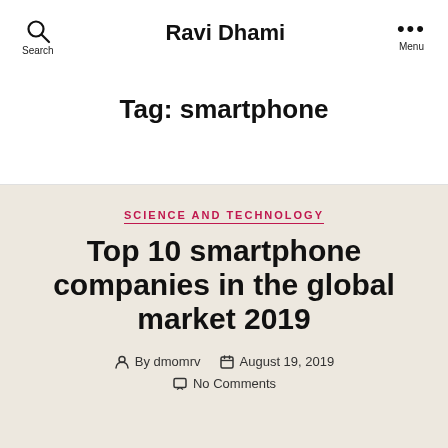Ravi Dhami
Tag: smartphone
SCIENCE AND TECHNOLOGY
Top 10 smartphone companies in the global market 2019
By dmomrv  August 19, 2019  No Comments